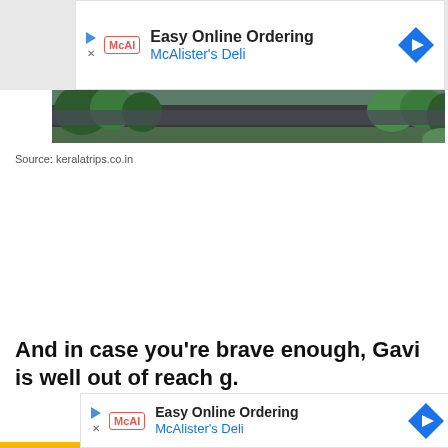[Figure (other): McAlister's Deli advertisement banner: 'Easy Online Ordering / McAlister's Deli' with logo and navigation icon]
[Figure (photo): Partial photograph showing trees and water/road scene, bottom portion visible]
Source: keralatrips.co.in
And in case you're brave enough, Gavi is well out of reach ... g.
[Figure (other): McAlister's Deli advertisement banner (bottom): 'Easy Online Ordering / McAlister's Deli' with logo and navigation icon]